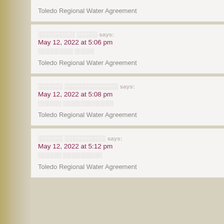Toledo Regional Water Agreement
░░░░░░░░░ ░░░░░ says:
May 12, 2022 at 5:06 pm
░░░░░░░░░ ░░░░░

Toledo Regional Water Agreement
░░░░░░ ░░░░░░░░░░░░░ says:
May 12, 2022 at 5:08 pm
░░░░░░ ░░░░░░░░░░░░░

Toledo Regional Water Agreement
░░░░░░ ░░░░░░░░░░ says:
May 12, 2022 at 5:12 pm
░░░░░░ ░░░░░░░░░░

Toledo Regional Water Agreement